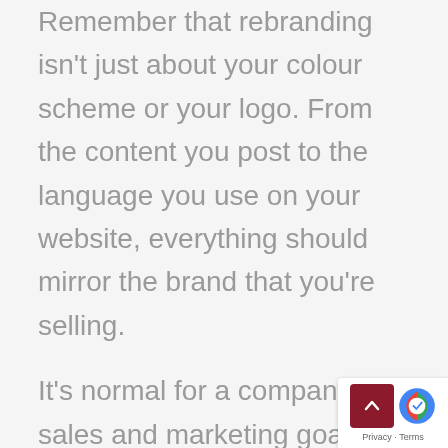Remember that rebranding isn't just about your colour scheme or your logo. From the content you post to the language you use on your website, everything should mirror the brand that you're selling.
It's normal for a company's sales and marketing goals to evolve as the business does too. Your website should reflect those goals to ensure digital marketing success.
An excellent way to ensure that your